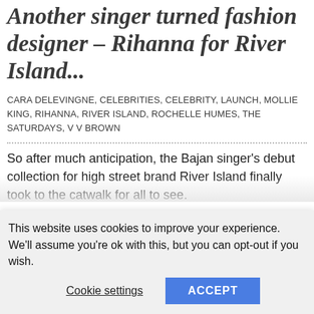Another singer turned fashion designer – Rihanna for River Island...
CARA DELEVINGNE, CELEBRITIES, CELEBRITY, LAUNCH, MOLLIE KING, RIHANNA, RIVER ISLAND, ROCHELLE HUMES, THE SATURDAYS, V V BROWN
So after much anticipation, the Bajan singer's debut collection for high street brand River Island finally took to the catwalk for all to see.
And while there were no fireworks, the earth
This website uses cookies to improve your experience. We'll assume you're ok with this, but you can opt-out if you wish.
Cookie settings  ACCEPT